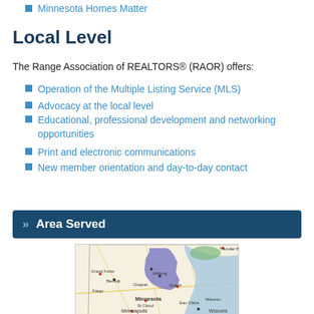Minnesota Homes Matter
Local Level
The Range Association of REALTORS® (RAOR) offers:
Operation of the Multiple Listing Service (MLS)
Advocacy at the local level
Educational, professional development and networking opportunities
Print and electronic communications
New member orientation and day-to-day contact
>> Area Served
[Figure (map): A map of Minnesota and surrounding region with a highlighted (purple/blue) area in northeastern Minnesota near Hibbing and Duluth, showing Grand Forks, Fargo, Thunder Bay, Bemidji, Hibbing, Cloquet, Duluth, St Cloud, Minneapolis, Eau Claire, Wausau, Wisconsin labels.]